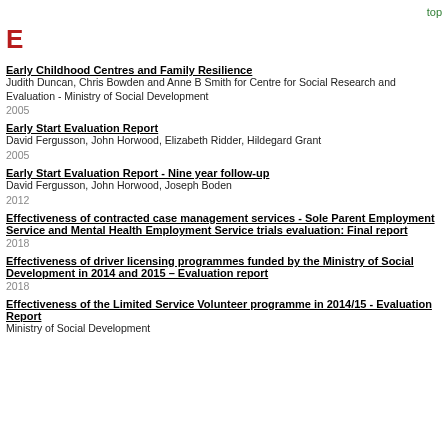top
E
Early Childhood Centres and Family Resilience
Judith Duncan, Chris Bowden and Anne B Smith for Centre for Social Research and Evaluation - Ministry of Social Development
2005
Early Start Evaluation Report
David Fergusson, John Horwood, Elizabeth Ridder, Hildegard Grant
2005
Early Start Evaluation Report - Nine year follow-up
David Fergusson, John Horwood, Joseph Boden
2012
Effectiveness of contracted case management services - Sole Parent Employment Service and Mental Health Employment Service trials evaluation: Final report
2018
Effectiveness of driver licensing programmes funded by the Ministry of Social Development in 2014 and 2015 – Evaluation report
2018
Effectiveness of the Limited Service Volunteer programme in 2014/15 - Evaluation Report
Ministry of Social Development